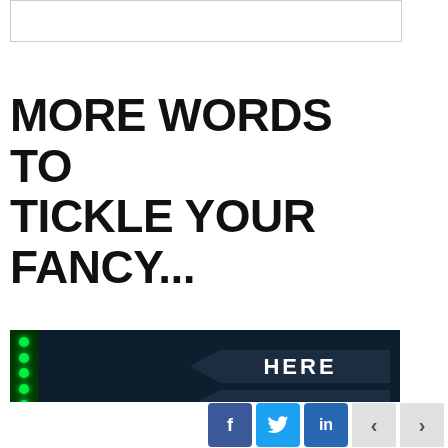[Figure (other): Empty white box with border at top of page]
MORE WORDS TO TICKLE YOUR FANCY...
[Figure (photo): Dark background photo with green LED dots on left edge and a dark navy arrow sign pointing left with the word HERE in bold white text]
[Figure (other): Social sharing bar with Facebook, Twitter, LinkedIn buttons and prev/next navigation arrows]